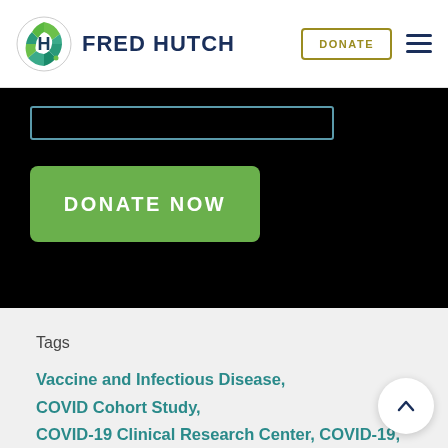FRED HUTCH
[Figure (logo): Fred Hutch circular logo with stylized H and dot pattern in teal and green]
DONATE NOW
Tags
Vaccine and Infectious Disease, COVID Cohort Study, COVID-19 Clinical Research Center, COVID-19, COVID Studies, Rachel Bender Ignacio, Joshua Schiffer, Elizabeth Duke, Julie McElrath, monoclonal antibodies, Viruses, Coronavirus